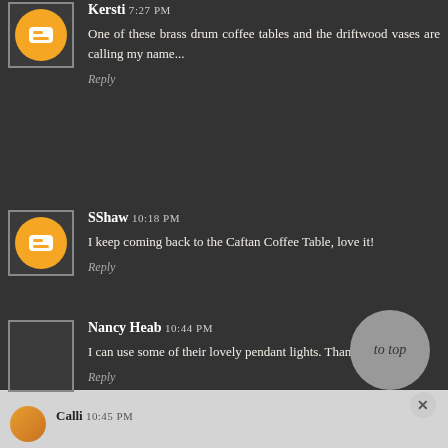Kersti 7:27 PM — One of these brass drum coffee tables and the driftwood vases are calling my name... Reply
SShaw 10:18 PM — I keep coming back to the Caftan Coffee Table, love it! Reply
Nancy Heab 10:44 PM — I can use some of their lovely pendant lights. Thanks! Reply
Calli 10:45 PM